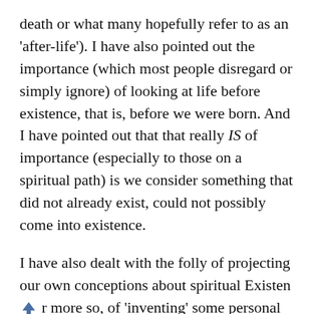death or what many hopefully refer to as an 'after-life'). I have also pointed out the importance (which most people disregard or simply ignore) of looking at life before existence, that is, before we were born. And I have pointed out that that really IS of importance (especially to those on a spiritual path) is we consider something that did not already exist, could not possibly come into existence.
I have also dealt with the folly of projecting our own conceptions about spiritual Existence [arrow up] or more so, of 'inventing' some personal God ...at loves only a given individual to the exclusion of everybody else. I have said that it simply